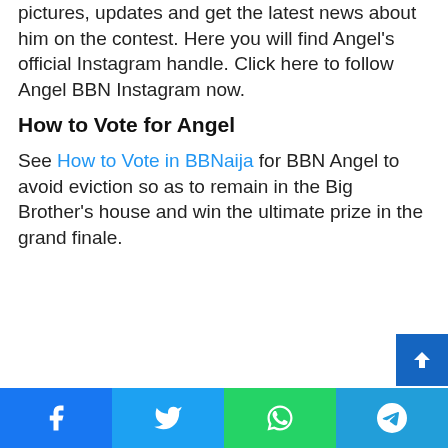pictures, updates and get the latest news about him on the contest. Here you will find Angel's official Instagram handle. Click here to follow Angel BBN Instagram now.
How to Vote for Angel
See How to Vote in BBNaija for BBN Angel to avoid eviction so as to remain in the Big Brother's house and win the ultimate prize in the grand finale.